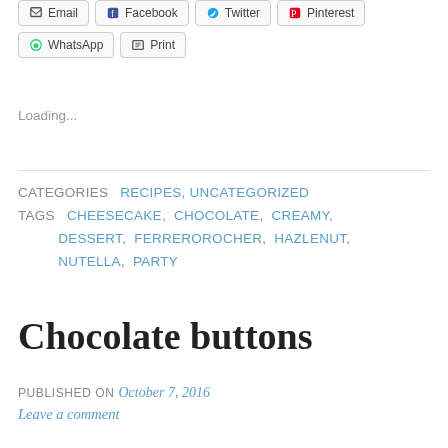Loading...
CATEGORIES  RECIPES, UNCATEGORIZED
TAGS  CHEESECAKE, CHOCOLATE, CREAMY, DESSERT, FERREROROCHER, HAZLENUT, NUTELLA, PARTY
Chocolate buttons
PUBLISHED ON October 7, 2016
Leave a comment